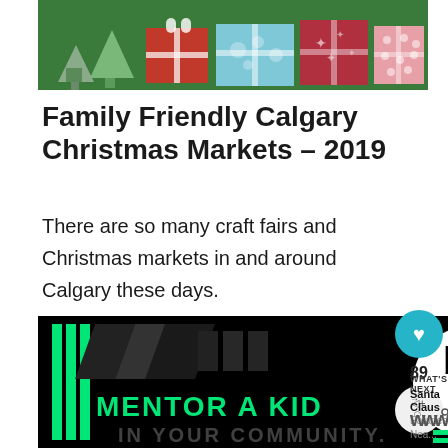[Figure (illustration): Christmas banner with green background, colorful wrapped gift boxes (red, blue with white snowflakes, red with stars, pink with dots) and illustrated Christmas trees]
Family Friendly Calgary Christmas Markets – 2019
There are so many craft fairs and Christmas markets in and around Calgary these days.
[Figure (photo): Advertisement for Big Brothers Big Sisters of America: 'MENTOR A KID IN YOUR COMMUNITY.' with green text on black background and organization logo]
[Figure (infographic): What's Next panel: Santa Claus Parades Nea... with circular thumbnail image]
89
[Figure (logo): Wordmark logo: three black/grey letter W shapes with superscript circle]